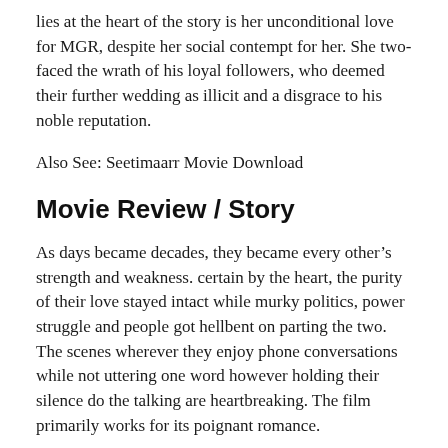lies at the heart of the story is her unconditional love for MGR, despite her social contempt for her. She two-faced the wrath of his loyal followers, who deemed their further wedding as illicit and a disgrace to his noble reputation.
Also See: Seetimaarr Movie Download
Movie Review / Story
As days became decades, they became every other’s strength and weakness. certain by the heart, the purity of their love stayed intact while murky politics, power struggle and people got hellbent on parting the two. The scenes wherever they enjoy phone conversations while not uttering one word however holding their silence do the talking are heartbreaking. The film primarily works for its poignant romance.
Perceived as a result of the ‘other woman’ in MGR’s life,